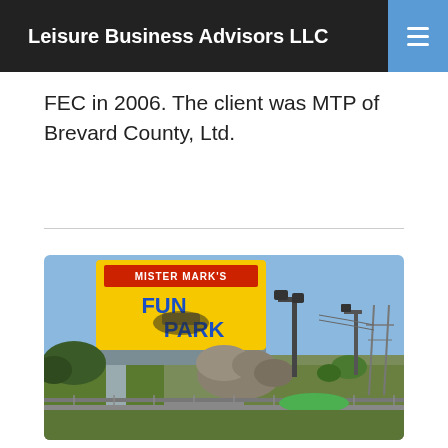Leisure Business Advisors LLC
FEC in 2006. The client was MTP of Brevard County, Ltd.
[Figure (photo): Exterior photo of Mister Mark's Fun Park showing a yellow roadside sign with red and blue text reading 'MISTER MARK'S FUN PARK', mounted on a grey pole. In the background are street lights, power line towers, trees, a miniature golf course with green turf, a chain-link fence, and rocky decorative structures.]